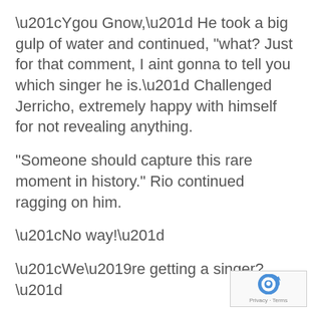“Ygou Gnow,” He took a big gulp of water and continued, "what? Just for that comment, I aint gonna to tell you which singer he is.” Challenged Jerricho, extremely happy with himself for not revealing anything.
"Someone should capture this rare moment in history." Rio continued ragging on him.
“No way!”
“We’re getting a singer?”
“Whoa!”
[Figure (logo): reCAPTCHA logo with Privacy and Terms text]